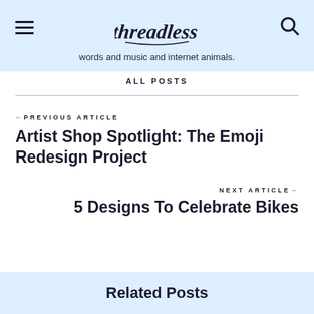Threadless
words and music and internet animals.
ALL POSTS
← PREVIOUS ARTICLE
Artist Shop Spotlight: The Emoji Redesign Project
NEXT ARTICLE →
5 Designs To Celebrate Bikes
Related Posts